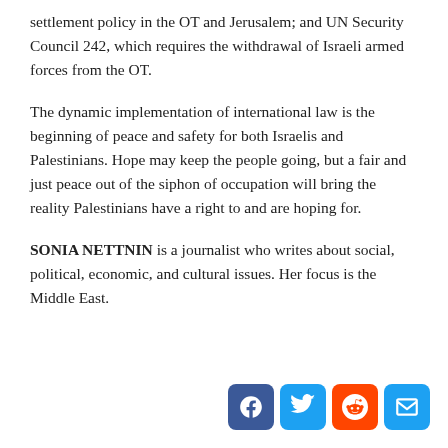settlement policy in the OT and Jerusalem; and UN Security Council 242, which requires the withdrawal of Israeli armed forces from the OT.
The dynamic implementation of international law is the beginning of peace and safety for both Israelis and Palestinians. Hope may keep the people going, but a fair and just peace out of the siphon of occupation will bring the reality Palestinians have a right to and are hoping for.
SONIA NETTNIN is a journalist who writes about social, political, economic, and cultural issues. Her focus is the Middle East.
[Figure (infographic): Social media sharing icons: Facebook (blue), Twitter (blue), Reddit (orange-red), Email (blue)]